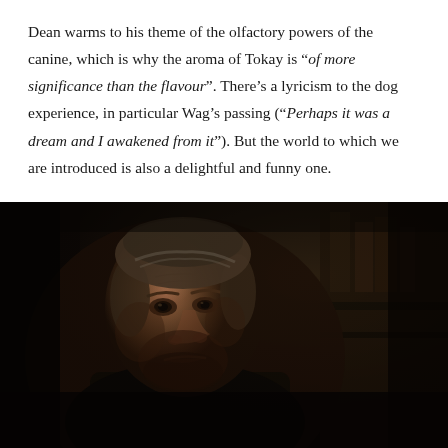Dean warms to his theme of the olfactory powers of the canine, which is why the aroma of Tokay is “of more significance than the flavour”. There’s a lyricism to the dog experience, in particular Wag’s passing (“Perhaps it was a dream and I awakened from it”). But the world to which we are introduced is also a delightful and funny one.
[Figure (photo): A dark cinematic still of a middle-aged man with grey stubble, wearing dark clerical clothing, looking intensely at the camera. The background is very dark with faint shapes of shelving or furniture visible.]